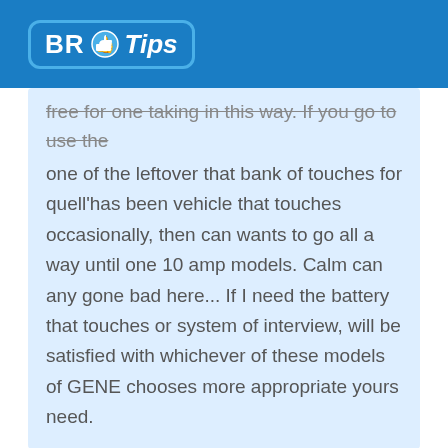BR Tips
free for one taking in this way. If you go to use the one of the leftover that bank of touches for quell'has been vehicle that touches occasionally, then can wants to go all a way until one 10 amp models. Calm can any gone bad here... If I need the battery that touches or system of interview, will be satisfied with whichever of these models of GENE chooses more appropriate yours need.
4 / 5  Harland
Is really be happy with this upload of NOCO. They have done some utmost transmissions with this